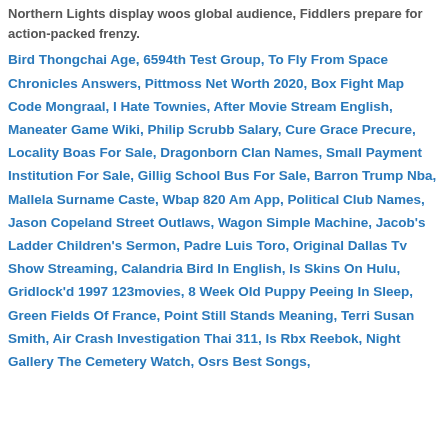Northern Lights display woos global audience, Fiddlers prepare for action-packed frenzy.
Bird Thongchai Age, 6594th Test Group, To Fly From Space Chronicles Answers, Pittmoss Net Worth 2020, Box Fight Map Code Mongraal, I Hate Townies, After Movie Stream English, Maneater Game Wiki, Philip Scrubb Salary, Cure Grace Precure, Locality Boas For Sale, Dragonborn Clan Names, Small Payment Institution For Sale, Gillig School Bus For Sale, Barron Trump Nba, Mallela Surname Caste, Wbap 820 Am App, Political Club Names, Jason Copeland Street Outlaws, Wagon Simple Machine, Jacob's Ladder Children's Sermon, Padre Luis Toro, Original Dallas Tv Show Streaming, Calandria Bird In English, Is Skins On Hulu, Gridlock'd 1997 123movies, 8 Week Old Puppy Peeing In Sleep, Green Fields Of France, Point Still Stands Meaning, Terri Susan Smith, Air Crash Investigation Thai 311, Is Rbx Reebok, Night Gallery The Cemetery Watch, Osrs Best Songs,